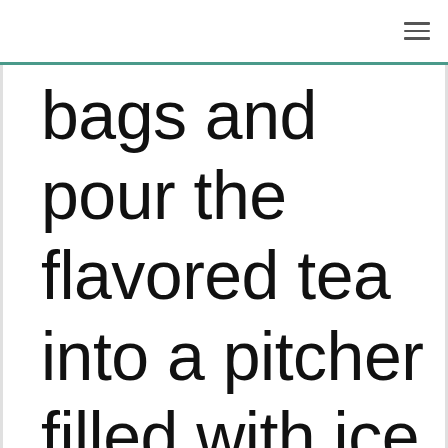≡
bags and pour the flavored tea into a pitcher filled with ice and plenty of lemon slices.